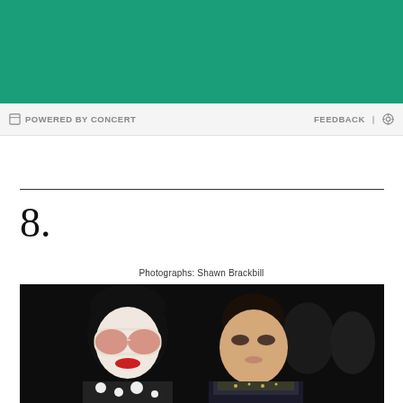[Figure (other): Green banner/header background]
POWERED BY CONCERT   FEEDBACK | ⚙
8.
Photographs: Shawn Brackbill
[Figure (photo): Two women posing together at an event. Left woman has black bob hair with bangs, large oversized white sunglasses with orange-tinted lenses, red lipstick, and a black-and-white patterned top. Right woman has dark hair in an updo, heavy eye makeup, and a dark outfit with a decorative collar. Background is dark.]